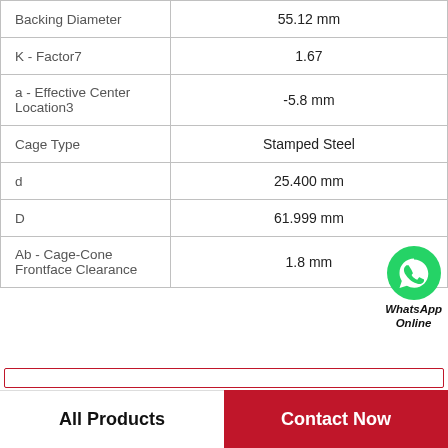| Property | Value |
| --- | --- |
| Backing Diameter | 55.12 mm |
| K - Factor7 | 1.67 |
| a - Effective Center Location3 | -5.8 mm |
| Cage Type | Stamped Steel |
| d | 25.400 mm |
| D | 61.999 mm |
| Ab - Cage-Cone Frontface Clearance | 1.8 mm |
WhatsApp Online
All Products | Contact Now